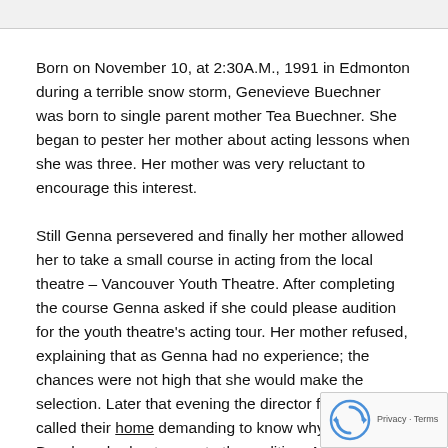Born on November 10, at 2:30A.M., 1991 in Edmonton during a terrible snow storm, Genevieve Buechner was born to single parent mother Tea Buechner. She began to pester her mother about acting lessons when she was three. Her mother was very reluctant to encourage this interest.
Still Genna persevered and finally her mother allowed her to take a small course in acting from the local theatre – Vancouver Youth Theatre. After completing the course Genna asked if she could please audition for the youth theatre's acting tour. Her mother refused, explaining that as Genna had no experience; the chances were not high that she would make the selection. Later that evening the director for the tour called their home demanding to know why Genevieve Buechner had not come to the audition. A special audition was set up for her the next day, and Genna was selected as the